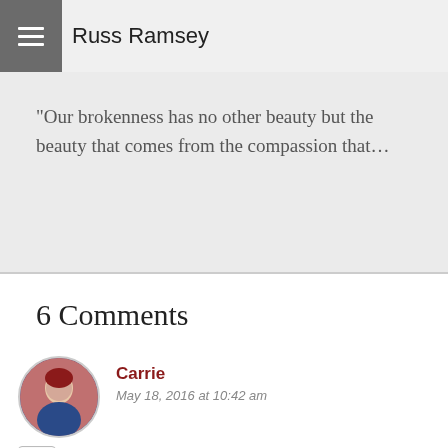Russ Ramsey
“Our brokenness has no other beauty but the beauty that comes from the compassion that…
6 Comments
Carrie
May 18, 2016 at 10:42 am
I’m loving these posts, Russ. Thank you!
John Barber